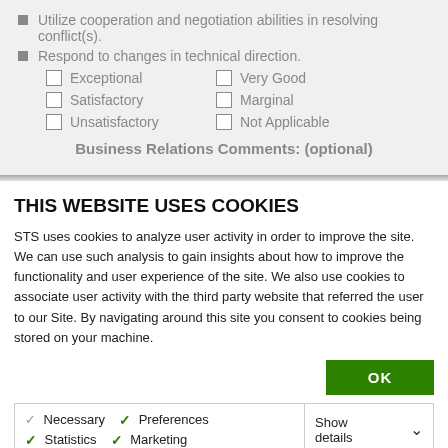Utilize cooperation and negotiation abilities in resolving conflict(s).
Respond to changes in technical direction.
Exceptional  Very Good  Satisfactory  Marginal  Unsatisfactory  Not Applicable
Business Relations Comments: (optional)
THIS WEBSITE USES COOKIES
STS uses cookies to analyze user activity in order to improve the site. We can use such analysis to gain insights about how to improve the functionality and user experience of the site. We also use cookies to associate user activity with the third party website that referred the user to our Site. By navigating around this site you consent to cookies being stored on your machine.
OK
Necessary  Preferences  Statistics  Marketing  Show details